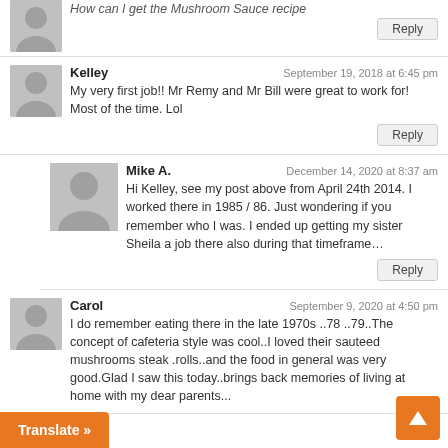How can I get the Mushroom Sauce recipe
Reply
Kelley — September 19, 2018 at 6:45 pm
My very first job!! Mr Remy and Mr Bill were great to work for! Most of the time. Lol
Reply
Mike A. — December 14, 2020 at 8:37 am
Hi Kelley, see my post above from April 24th 2014. I worked there in 1985 / 86. Just wondering if you remember who I was. I ended up getting my sister Sheila a job there also during that timeframe…
Reply
Carol — September 9, 2020 at 4:50 pm
I do remember eating there in the late 1970s ..78 ..79..The concept of cafeteria style was cool..I loved their sauteed mushrooms steak .rolls..and the food in general was very good.Glad I saw this today..brings back memories of living at home with my dear parents...
Reply